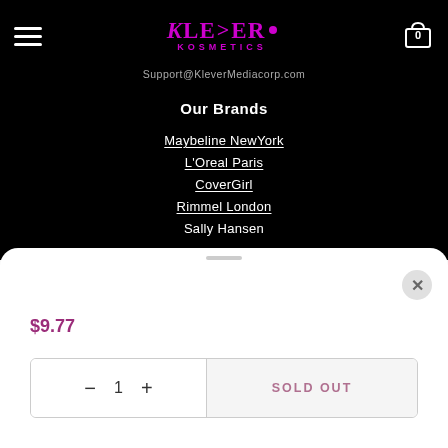Klever Kosmetics
Support@KleverMediacorp.com
Our Brands
Maybeline NewYork
L'Oreal Paris
CoverGirl
Rimmel London
Sally Hansen
$9.77
SOLD OUT
1